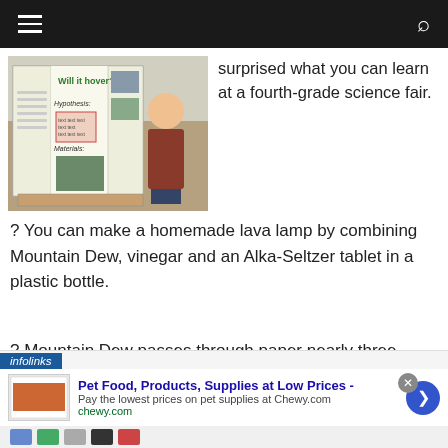Navigation bar with hamburger menu and search icon
[Figure (photo): A student standing next to a science fair display board titled 'Will it hover?' with sections for Hypothesis and Materials. The board has a tri-fold presentation format with photos and text.]
surprised what you can learn at a fourth-grade science fair.
? You can make a homemade lava lamp by combining Mountain Dew, vinegar and an Alka-Seltzer tablet in a plastic bottle.
? Mountain Dew passes through paper nearly three times faster than water or Coke.
...with some baking soda in it can blow it...
Pet Food, Products, Supplies at Low Prices - Pay the lowest prices on pet supplies at Chewy.com chewy.com